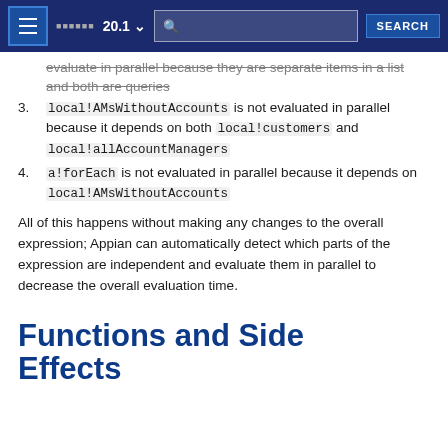20.1 SEARCH
evaluate in parallel because they are separate items in a list and both are queries (partial, cut off at top)
3. local!AMsWithoutAccounts is not evaluated in parallel because it depends on both local!customers and local!allAccountManagers
4. a!forEach is not evaluated in parallel because it depends on local!AMsWithoutAccounts
All of this happens without making any changes to the overall expression; Appian can automatically detect which parts of the expression are independent and evaluate them in parallel to decrease the overall evaluation time.
Functions and Side Effects